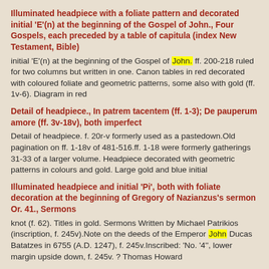Illuminated headpiece with a foliate pattern and decorated initial 'E'(n) at the beginning of the Gospel of John., Four Gospels, each preceded by a table of capitula (index New Testament, Bible)
initial 'E'(n) at the beginning of the Gospel of John. ff. 200-218 ruled for two columns but written in one. Canon tables in red decorated with coloured foliate and geometric patterns, some also with gold (ff. 1v-6). Diagram in red
Detail of headpiece., In patrem tacentem (ff. 1-3); De pauperum amore (ff. 3v-18v), both imperfect
Detail of headpiece. f. 20r-v formerly used as a pastedown.Old pagination on ff. 1-18v of 481-516.ff. 1-18 were formerly gatherings 31-33 of a larger volume. Headpiece decorated with geometric patterns in colours and gold. Large gold and blue initial
Illuminated headpiece and initial 'Pi', both with foliate decoration at the beginning of Gregory of Nazianzus's sermon Or. 41., Sermons
knot (f. 62). Titles in gold. Sermons Written by Michael Patrikios (inscription, f. 245v).Note on the deeds of the Emperor John Ducas Batatzes in 6755 (A.D. 1247), f. 245v.Inscribed: 'No. '4'', lower margin upside down, f. 245v. ? Thomas Howard
Decorated initial 'M'(ultum) at the beginning of the 'De fide ad Donatum' of Fulgentius of Ruspe., De fide ad Donatum and De fide ad Petrum trinitatis; Sermo de utilitate agendi penitentiam, De disciplina christiana, and De decem cordis; Liber exhortationis; Liber ecclesiasticorum dogmatum
Sheldonian, '1697' but 16982). II, no. 6553 Robert Scott (b. c. 1632, d.